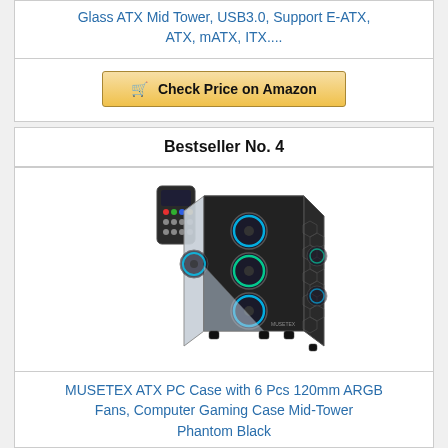Glass ATX Mid Tower, USB3.0, Support E-ATX, ATX, mATX, ITX....
Check Price on Amazon
Bestseller No. 4
[Figure (photo): MUSETEX ATX PC Case with 6 ARGB fans, showing a black mid-tower gaming case with RGB lighting and a remote control]
MUSETEX ATX PC Case with 6 Pcs 120mm ARGB Fans, Computer Gaming Case Mid-Tower Phantom Black